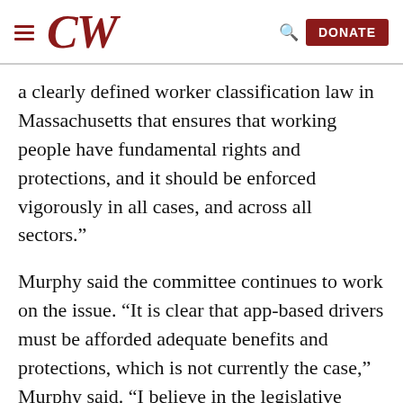CW [logo with hamburger menu, search icon, and DONATE button]
a clearly defined worker classification law in Massachusetts that ensures that working people have fundamental rights and protections, and it should be enforced vigorously in all cases, and across all sectors.”
Murphy said the committee continues to work on the issue. “It is clear that app-based drivers must be afforded adequate benefits and protections, which is not currently the case,” Murphy said. “I believe in the legislative process and engaging all parties to find possible solutions which serve the best interests of the people of the Commonwealth.”